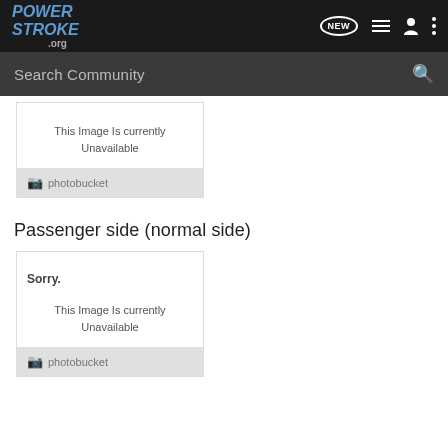POWERSTROKE.org — Search Community — NEW
[Figure (screenshot): Photobucket unavailable image placeholder: 'This Image Is currently Unavailable']
Passenger side (normal side)
[Figure (screenshot): Photobucket unavailable image placeholder: 'Sorry. This Image Is currently Unavailable']